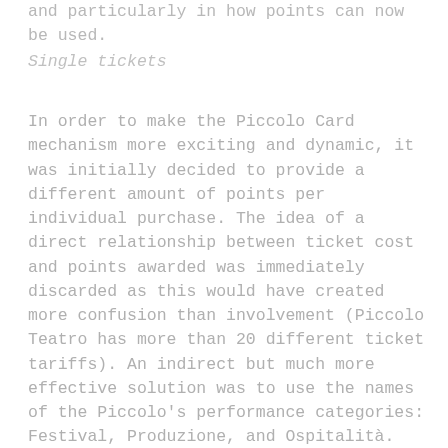and particularly in how points can now be used.
Single tickets
In order to make the Piccolo Card mechanism more exciting and dynamic, it was initially decided to provide a different amount of points per individual purchase. The idea of a direct relationship between ticket cost and points awarded was immediately discarded as this would have created more confusion than involvement (Piccolo Teatro has more than 20 different ticket tariffs). An indirect but much more effective solution was to use the names of the Piccolo's performance categories: Festival, Produzione, and Ospitalità. International shows, hosted every season by Piccolo in the Festival category, represent around 20% of the total season